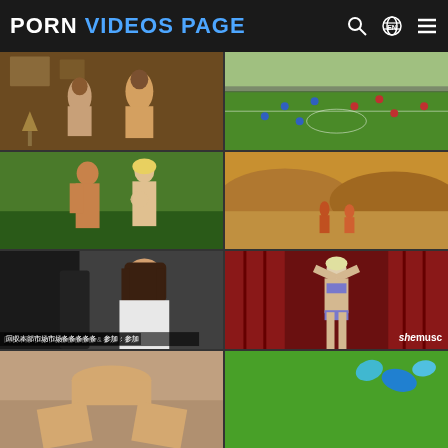PORN VIDEOS PAGE
[Figure (photo): Indoor scene with two nude figures in a room with furniture and wall art]
[Figure (photo): Outdoor sports field with children playing soccer]
[Figure (photo): Outdoor scene with male and female figures embracing in grass]
[Figure (photo): Sandy dunes landscape with two figures running]
[Figure (photo): Asian woman in white shirt in car interior, with Chinese text subtitle overlay]
[Figure (photo): Female bodybuilder in purple bikini posing in front of red curtain, shemusc watermark]
[Figure (photo): Partial view of nude figure on floor]
[Figure (photo): Green grass surface with colorful objects]